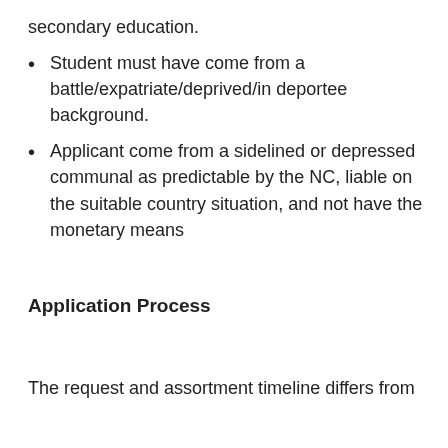secondary education.
Student must have come from a battle/expatriate/deprived/in deportee background.
Applicant come from a sidelined or depressed communal as predictable by the NC, liable on the suitable country situation, and not have the monetary means
Application Process
The request and assortment timeline differs from